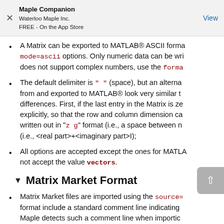Maple Companion
Waterloo Maple Inc.
FREE - On the App Store
View
A Matrix can be exported to MATLAB® ASCII forma... mode=ascii options. Only numeric data can be wri... does not support complex numbers, use the forma...
The default delimiter is " " (space), but an alterna... from and exported to MATLAB® look very similar t... differences. First, if the last entry in the Matrix is ze... explicitly, so that the row and column dimension c... written out in "z g" format (i.e., a space between n... (i.e., <real part>+<imaginary part>I);
All options are accepted except the ones for MATLA... not accept the value vectors.
Matrix Market Format
Matrix Market files are imported using the source=... format include a standard comment line indicating... Maple detects such a comment line when importi...